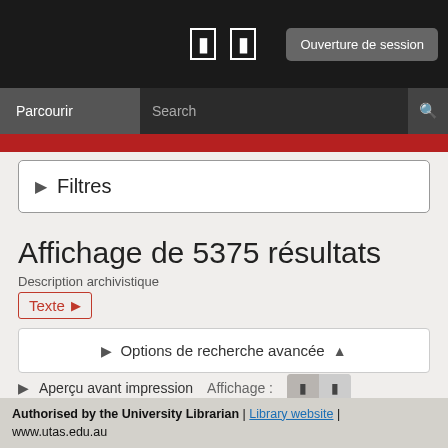Ouverture de session
Parcourir | Search
▸  Filtres
Affichage de 5375 résultats
Description archivistique
Texte ×
▸  Options de recherche avancée  ◂
▸ Aperçu avant impression   Affichage :
Trier par:  Date de fin  ▸   Direction:  Décroissant  ▸
Authorised by the University Librarian | Library website | www.utas.edu.au